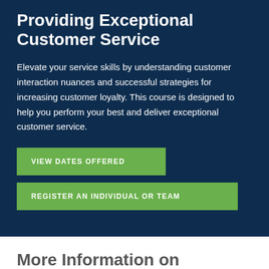Providing Exceptional Customer Service
Elevate your service skills by understanding customer interaction nuances and successful strategies for increasing customer loyalty. This course is designed to help you perform your best and deliver exceptional customer service.
VIEW DATES OFFERED
REGISTER AN INDIVIDUAL OR TEAM
More Information on Certifications